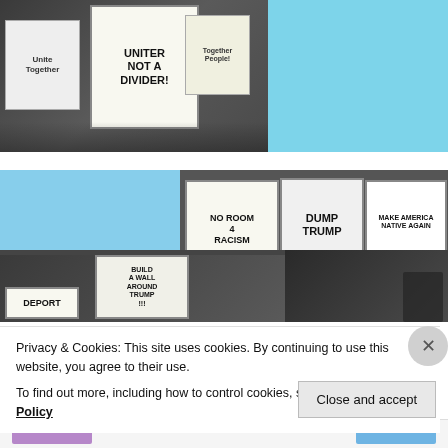[Figure (photo): Protest photo showing people holding signs including 'UNITER NOT A DIVIDER' against a light blue background]
[Figure (photo): Collage of protest photos showing signs: 'NO ROOM 4 RACISM', 'DUMP TRUMP', 'MAKE AMERICA NATIVE AGAIN', 'BUILD A WALL AROUND TRUMP!!!', 'DEPORT']
Privacy & Cookies: This site uses cookies. By continuing to use this website, you agree to their use.
To find out more, including how to control cookies, see here: Cookie Policy